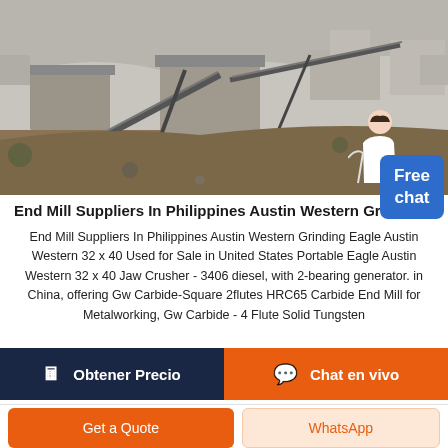[Figure (photo): Aerial view of an industrial mining/crushing plant facility with conveyor belts, machinery, and buildings on a large outdoor site.]
End Mill Suppliers In Philippines Austin Western Grinding
End Mill Suppliers In Philippines Austin Western Grinding Eagle Austin Western 32 x 40 Used for Sale in United States Portable Eagle Austin Western 32 x 40 Jaw Crusher - 3406 diesel, with 2-bearing generator. in China, offering Gw Carbide-Square 2flutes HRC65 Carbide End Mill for Metalworking, Gw Carbide - 4 Flute Solid Tungsten
Obtener Precio
Chat en vivo
Get a Quote
WhatsApp